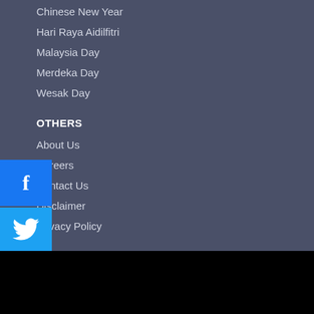Chinese New Year
Hari Raya Aidilfitri
Malaysia Day
Merdeka Day
Wesak Day
OTHERS
About Us
Careers
Contact Us
Disclaimer
Privacy Policy
Trixoli > Tour Packages > China Tour Packages > Guangzhou Muslim Tour